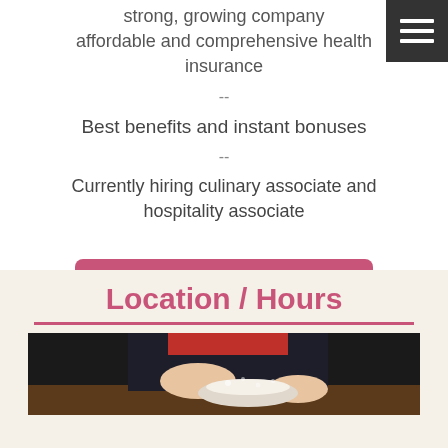strong, growing company affordable and comprehensive health insurance
--
Best benefits and instant bonuses
--
Currently hiring culinary associate and hospitality associate
Email Us
Location / Hours
[Figure (photo): Person's hands working with dough or flour on a surface, wearing dark clothing and red top]